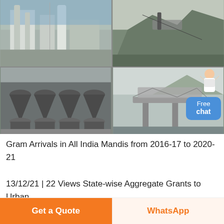[Figure (photo): Four-panel grid of industrial/mining equipment photos: top-left shows a factory building with silos and blue sky, top-right shows an aerial view of a mining/crushing site, bottom-left shows a row of large industrial cone crushers in a hall, bottom-right shows a large elevated conveyor/crushing structure at a quarry. A 'Free chat' button overlay in blue is in the bottom-right corner with a small avatar figure.]
Gram Arrivals in All India Mandis from 2016-17 to 2020-21
13/12/21 | 22 Views State-wise Aggregate Grants to Urban Local Bodies during 2020-21 10/12/21 | 242 Views Production of Synthetic Fibers / Yarn under Major Petrochemicals from 2012-13 to 2019-20 09/12/21 | 147
Get a Quote
WhatsApp